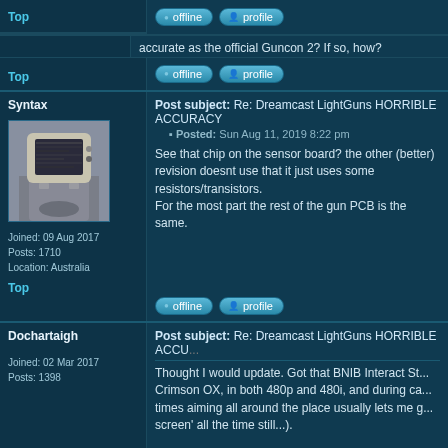accurate as the official Guncon 2? If so, how?
Top
offline  profile
Post subject: Re: Dreamcast LightGuns HORRIBLE ACCURACY
Posted: Sun Aug 11, 2019 8:22 pm
Syntax
[Figure (photo): Avatar of user Syntax: person wearing a CRT TV as a mask/head]
Joined: 09 Aug 2017
Posts: 1710
Location: Australia
Top
offline  profile
See that chip on the sensor board? the other (better) revision doesnt use that it just uses some resistors/transistors.
For the most part the rest of the gun PCB is the same.
Post subject: Re: Dreamcast LightGuns HORRIBLE ACCU...
Dochartaigh
Joined: 02 Mar 2017
Posts: 1398
Thought I would update. Got that BNIB Interact St... Crimson OX, in both 480p and 480i, and during ca... times aiming all around the place usually lets me g... screen' all the time still...).
Also got a THIRD Dreamcast in a trade this week.... a consumer SD TV).